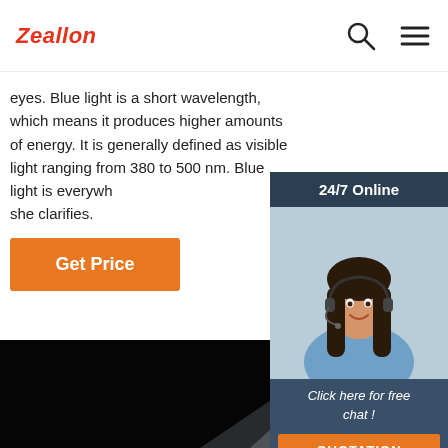Zeallon
eyes. Blue light is a short wavelength, which means it produces higher amounts of energy. It is generally defined as visible light ranging from 380 to 500 nm. Blue light is everywhere, she clarifies.
Get Price
[Figure (photo): 24/7 Online chat widget with a female customer service representative wearing a headset, with 'Click here for free chat!' text and a QUOTATION button]
[Figure (photo): Dark black background with a white curved LED desk lamp emitting a beam of light]